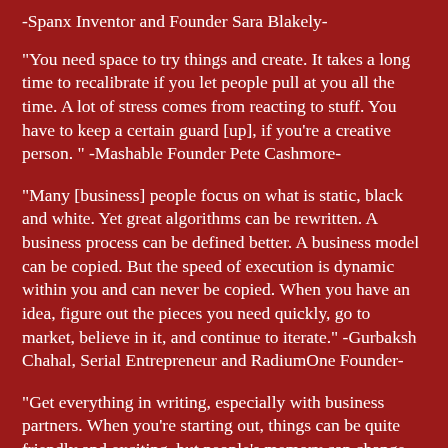-Spanx Inventor and Founder Sara Blakely-
"You need space to try things and create. It takes a long time to recalibrate if you let people pull at you all the time. A lot of stress comes from reacting to stuff. You have to keep a certain guard [up], if you're a creative person. " -Mashable Founder Pete Cashmore-
"Many [business] people focus on what is static, black and white. Yet great algorithms can be rewritten. A business process can be defined better. A business model can be copied. But the speed of execution is dynamic within you and can never be copied. When you have an idea, figure out the pieces you need quickly, go to market, believe in it, and continue to iterate." -Gurbaksh Chahal, Serial Entrepreneur and RadiumOne Founder-
"Get everything in writing, especially with business partners. When you're starting out, things can be quite friendly and exciting, but people's memory can change due to money.